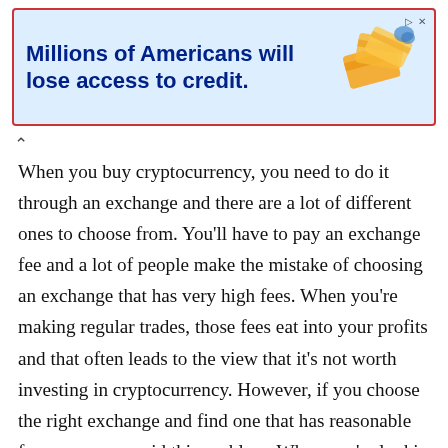[Figure (other): Advertisement banner with blue background and red left border. Text reads 'Millions of Americans will lose access to credit.' in bold dark blue. Orange graphic/illustration on the right side.]
When you buy cryptocurrency, you need to do it through an exchange and there are a lot of different ones to choose from. You'll have to pay an exchange fee and a lot of people make the mistake of choosing an exchange that has very high fees. When you're making regular trades, those fees eat into your profits and that often leads to the view that it's not worth investing in cryptocurrency. However, if you choose the right exchange and find one that has reasonable fees, you can avoid this problem. When you're looking at the fees, make sure to read through the rates and understand them properly because some exchanges will charge a flat fee while others will charge a dynamic fee based on the size of the trade. If a site doesn't clearly list a